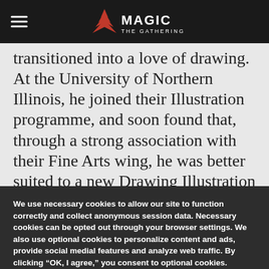Magic: The Gathering
transitioned into a love of drawing. At the University of Northern Illinois, he joined their Illustration programme, and soon found that, through a strong association with their Fine Arts wing, he was better suited to a new Drawing Illustration major, which by chance had been formed just as he joined the school.
We use necessary cookies to allow our site to function correctly and collect anonymous session data. Necessary cookies can be opted out through your browser settings. We also use optional cookies to personalize content and ads, provide social medial features and analyze web traffic. By clicking “OK, I agree,” you consent to optional cookies. (Learn more about cookies.)